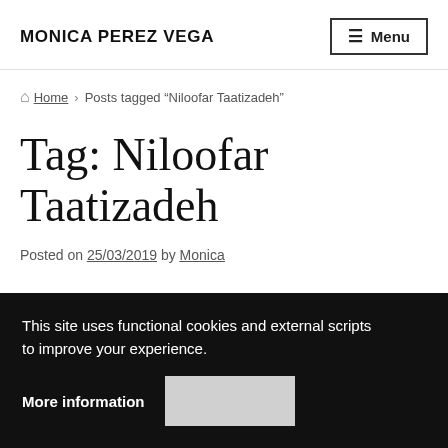MONICA PEREZ VEGA
Home > Posts tagged "Niloofar Taatizadeh"
Tag: Niloofar Taatizadeh
Posted on 25/03/2019 by Monica
This site uses functional cookies and external scripts to improve your experience.
More information